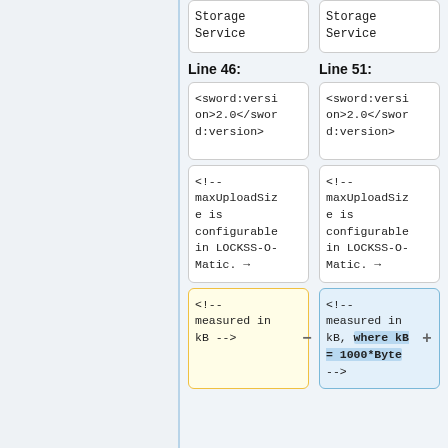Storage
Service
Storage
Service
Line 46:
Line 51:
<sword:version>2.0</sword:version>
<sword:version>2.0</sword:version>
<!-- maxUploadSize is configurable in LOCKSS-O-Matic. →
<!-- maxUploadSize is configurable in LOCKSS-O-Matic. →
<!-- measured in kB -->
<!-- measured in kB, where kB = 1000*Byte -->